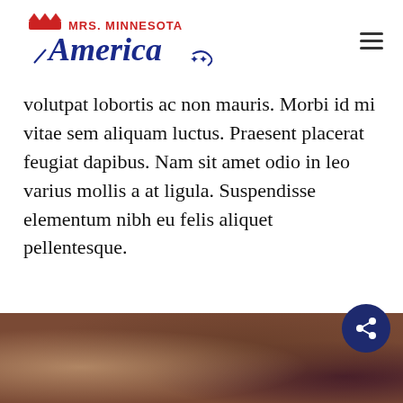Mrs. Minnesota America
volutpat lobortis ac non mauris. Morbi id mi vitae sem aliquam luctus. Praesent placerat feugiat dapibus. Nam sit amet odio in leo varius mollis a at ligula. Suspendisse elementum nibh eu felis aliquet pellentesque.
Branding
Illustration
Photography
[Figure (photo): Blurred dark photo strip at bottom of page]